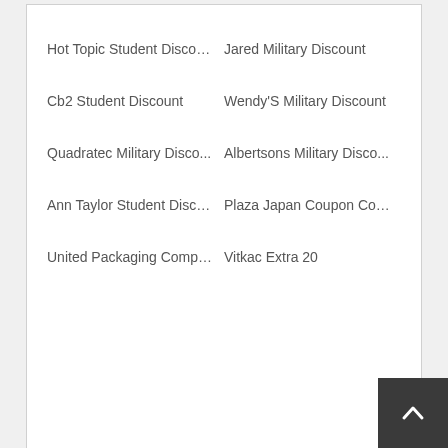Hot Topic Student Discount
Jared Military Discount
Cb2 Student Discount
Wendy'S Military Discount
Quadratec Military Disco...
Albertsons Military Disco...
Ann Taylor Student Disco...
Plaza Japan Coupon Cod...
United Packaging Compo...
Vitkac Extra 20
Featured Stores
[Figure (logo): maurices logo in teal/turquoise text]
[Figure (logo): SpiritHoods logo with stylized wings]